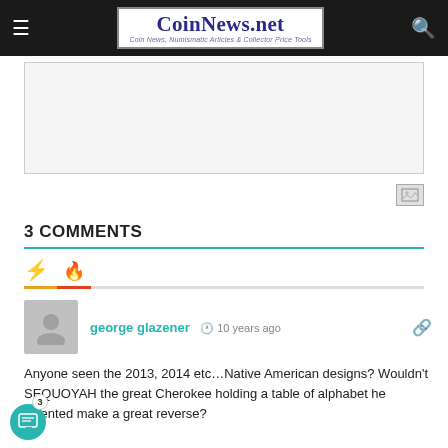CoinNews.net — Coin News, Numismatic Articles & Collector Price Tools
[Figure (other): Advertisement placeholder box]
3 COMMENTS
george glazener · 10 years ago
Anyone seen the 2013, 2014 etc…Native American designs? Wouldn't SEQUOYAH the great Cherokee holding a table of alphabet he invented make a great reverse?